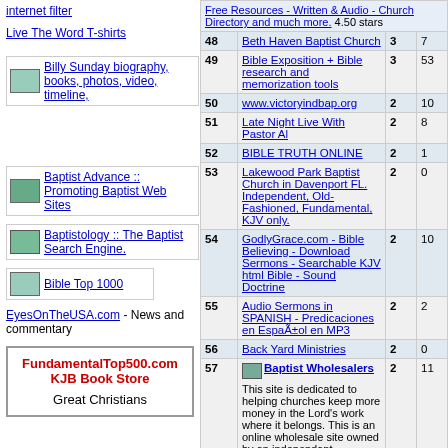internet filter
Live The Word T-shirts
[Figure (other): Billy Sunday biography, books, photos, video, timeline thumbnail link]
[Figure (other): Baptist Advance :: Promoting Baptist Web Sites thumbnail link]
[Figure (other): Baptistology :: The Baptist Search Engine thumbnail link]
[Figure (other): Bible Top 1000 thumbnail link]
EyesOnTheUSA.com - News and commentary
[Figure (infographic): FundamentalTop500.com KJB Book Store Great Christians promo box]
| # | Site | Votes | Last |
| --- | --- | --- | --- |
|  | Free Resources - Written & Audio - Church Directory and much more. 4.50 stars |  |  |
| 48 | Beth Haven Baptist Church | 3 | 7 |
| 49 | Bible Exposition + Bible research and memorization tools | 3 | 53 |
| 50 | www.victoryindbap.org | 2 | 10 |
| 51 | Late Night Live With Pastor Al | 2 | 8 |
| 52 | BIBLE TRUTH ONLINE | 2 | 1 |
| 53 | Lakewood Park Baptist Church in Davenport FL. Independent, Old-Fashioned, Fundamental, KJV only. | 2 | 0 |
| 54 | GodlyGrace.com - Bible Believing - Download Sermons - Searchable KJV html Bible - Sound Doctrine | 2 | 10 |
| 55 | Audio Sermons in SPANISH - Predicaciones en EspaÃ±ol en MP3 | 2 | 2 |
| 56 | Back Yard Ministries | 2 | 0 |
| 57 | Baptist Wholesalers - This site is dedicated to helping churches keep more money in the Lord's work where it belongs. This is an online wholesale site owned by an independant fundamental Baptist to help independant fundamental Baptist churches, mission works and schools get office equipment, supplies, hymnals and more (added frequently)at wholesale prices. We want to help your church or ministry save dollars... | 2 | 11 |